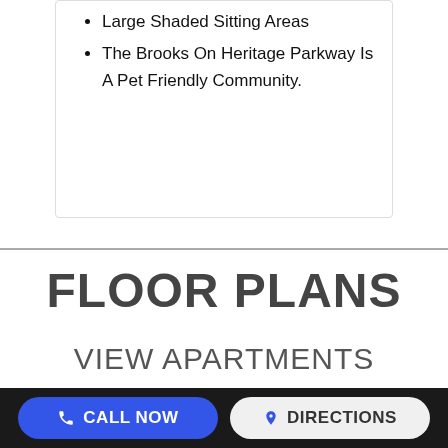Large Shaded Sitting Areas
The Brooks On Heritage Parkway Is A Pet Friendly Community.
FLOOR PLANS
VIEW APARTMENTS
CALL NOW   DIRECTIONS